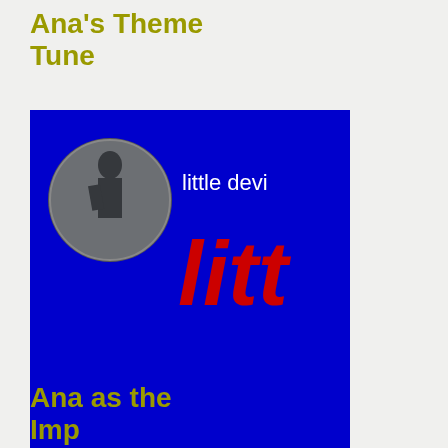Ana's Theme Tune
[Figure (screenshot): A music/video thumbnail showing a mostly blue background with a circular portrait (black and white photo of a person) in the upper left, white text 'little devi' (partially cut off) next to the portrait, and large bold red text 'litt' (partially cut off) below the portrait area. The image is cropped/cut off on the right side.]
Ana as the Imp